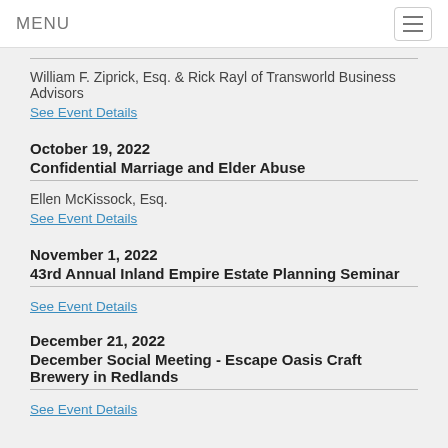MENU
William F. Ziprick, Esq. & Rick Rayl of Transworld Business Advisors
See Event Details
October 19, 2022
Confidential Marriage and Elder Abuse
Ellen McKissock, Esq.
See Event Details
November 1, 2022
43rd Annual Inland Empire Estate Planning Seminar
See Event Details
December 21, 2022
December Social Meeting - Escape Oasis Craft Brewery in Redlands
See Event Details